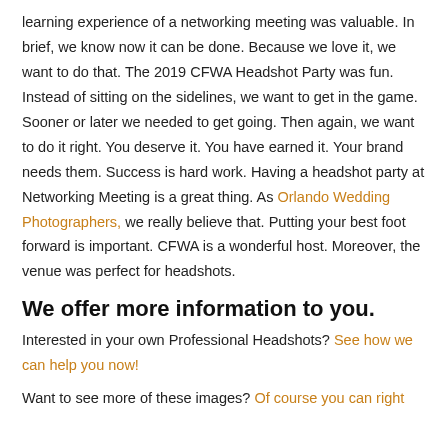learning experience of a networking meeting was valuable. In brief, we know now it can be done. Because we love it, we want to do that. The 2019 CFWA Headshot Party was fun. Instead of sitting on the sidelines, we want to get in the game. Sooner or later we needed to get going. Then again, we want to do it right. You deserve it. You have earned it. Your brand needs them. Success is hard work. Having a headshot party at Networking Meeting is a great thing. As Orlando Wedding Photographers, we really believe that. Putting your best foot forward is important. CFWA is a wonderful host. Moreover, the venue was perfect for headshots.
We offer more information to you.
Interested in your own Professional Headshots? See how we can help you now!
Want to see more of these images? Of course you can right